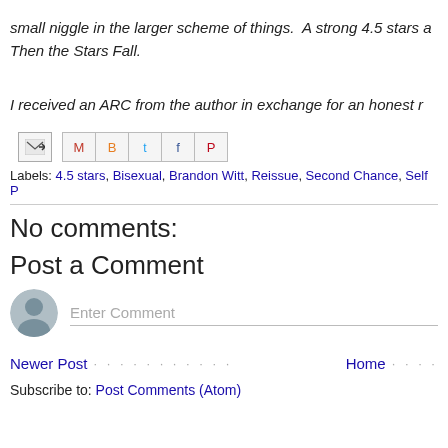small niggle in the larger scheme of things. A strong 4.5 stars for Then the Stars Fall.
I received an ARC from the author in exchange for an honest r
[Figure (screenshot): Share/email icons row: email forward icon, then social share buttons for Gmail, Blogger, Twitter, Facebook, Pinterest]
Labels: 4.5 stars, Bisexual, Brandon Witt, Reissue, Second Chance, Self P
No comments:
Post a Comment
[Figure (screenshot): Comment input field with user avatar icon and 'Enter Comment' placeholder text]
Newer Post ·  ·  ·  ·  ·  ·  ·  ·  ·  ·  ·  Home ·  ·  ·  ·
Subscribe to: Post Comments (Atom)